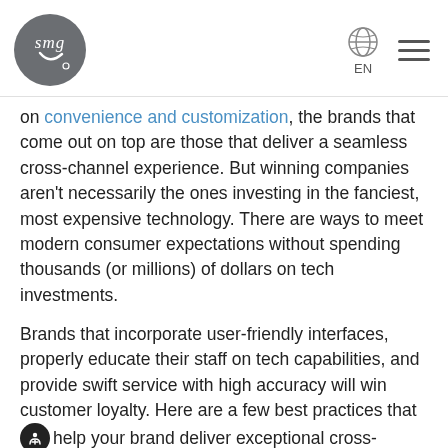SMG logo, EN language selector, hamburger menu
on convenience and customization, the brands that come out on top are those that deliver a seamless cross-channel experience. But winning companies aren't necessarily the ones investing in the fanciest, most expensive technology. There are ways to meet modern consumer expectations without spending thousands (or millions) of dollars on tech investments.
Brands that incorporate user-friendly interfaces, properly educate their staff on tech capabilities, and provide swift service with high accuracy will win customer loyalty. Here are a few best practices that help your brand deliver exceptional cross-channel experiences that impact business outcomes: